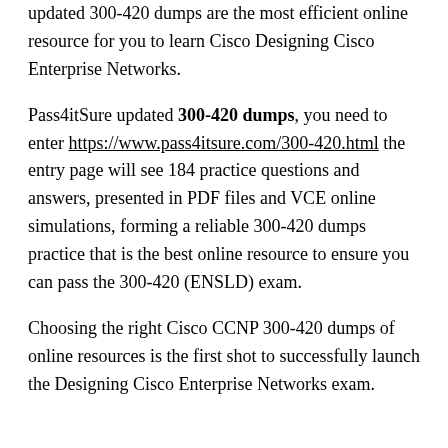updated 300-420 dumps are the most efficient online resource for you to learn Cisco Designing Cisco Enterprise Networks.
Pass4itSure updated 300-420 dumps, you need to enter https://www.pass4itsure.com/300-420.html the entry page will see 184 practice questions and answers, presented in PDF files and VCE online simulations, forming a reliable 300-420 dumps practice that is the best online resource to ensure you can pass the 300-420 (ENSLD) exam.
Choosing the right Cisco CCNP 300-420 dumps of online resources is the first shot to successfully launch the Designing Cisco Enterprise Networks exam.